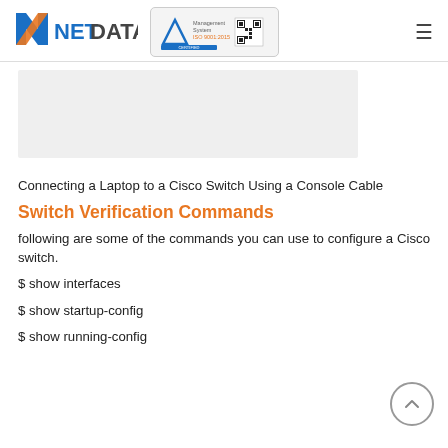NETDATA logo and ISO certification badge
[Figure (photo): Gray placeholder image area for a photo of connecting a laptop to a Cisco switch using a console cable]
Connecting a Laptop to a Cisco Switch Using a Console Cable
Switch Verification Commands
following are some of the commands you can use to configure a Cisco switch.
$ show interfaces
$ show startup-config
$ show running-config